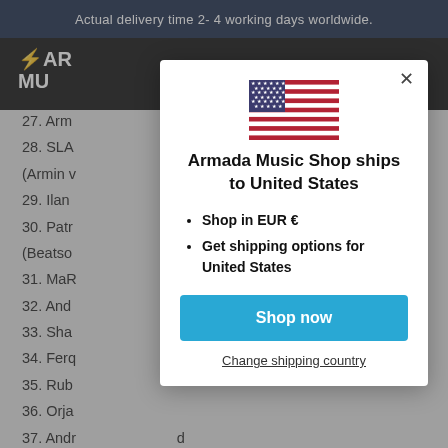Actual delivery time 2- 4 working days worldwide.
27. Arm... e Why
28. SLA... e (Armin v...
29. Ilan... ove
30. Patr... ain (Beatso...
31. MaR...
32. And... mix)
33. Sha... ack
34. Ferq...
35. Rub...
36. Orja...
37. Andr... d Paradisum
38. DIM3NSION S D J Nano - Shoganal
[Figure (screenshot): Modal dialog on Armada Music Shop website showing US flag, message 'Armada Music Shop ships to United States', bullet points listing shop in EUR and shipping options, a blue 'Shop now' button, and a 'Change shipping country' link.]
Armada Music Shop ships to United States
Shop in EUR €
Get shipping options for United States
Shop now
Change shipping country